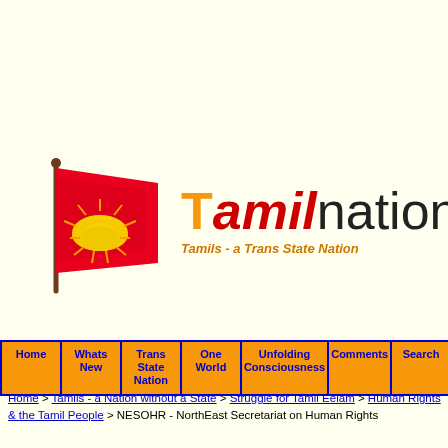[Figure (logo): TamilNation website logo: red flag with rising sun on left, site name 'Tamilnation' in large text with orange T, red italic 'amil', black 'nation', tagline 'Tamils - a Trans State Nation' in orange italic below]
Home | Whats New | Trans State Nation | One World | Unfolding Consciousness | Comments | Search
Home > Tamils - a Nation without a State > Struggle for Tamil Eelam > Human Rights & the Tamil People > NESOHR - NorthEast Secretariat on Human Rights